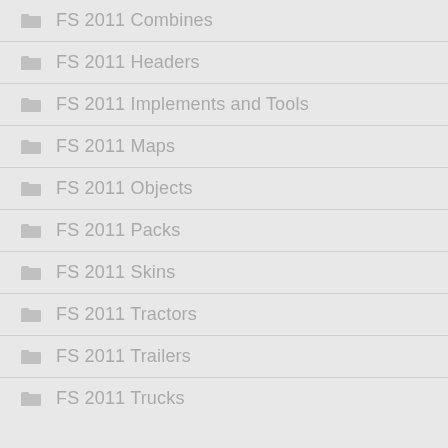FS 2011 Combines
FS 2011 Headers
FS 2011 Implements and Tools
FS 2011 Maps
FS 2011 Objects
FS 2011 Packs
FS 2011 Skins
FS 2011 Tractors
FS 2011 Trailers
FS 2011 Trucks